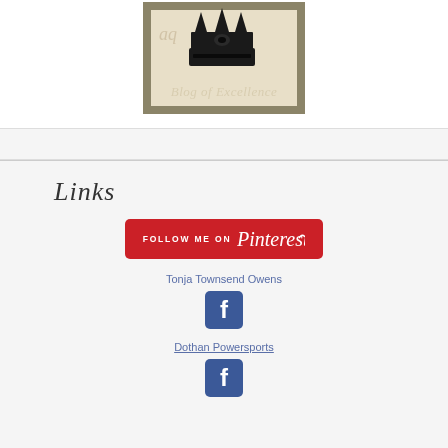[Figure (illustration): Blog of Excellence badge with a decorative crown on a vintage paper background, olive-colored border, with text 'Blog of Excellence' in an elegant serif font]
Links
[Figure (logo): Follow me on Pinterest red button with Pinterest logo text in white]
Tonja Townsend Owens
[Figure (logo): Facebook logo icon - blue square with white f]
Dothan Powersports
[Figure (logo): Facebook logo icon - blue square with white f]